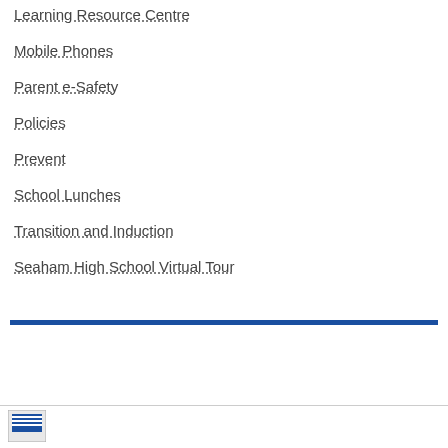Learning Resource Centre
Mobile Phones
Parent e-Safety
Policies
Prevent
School Lunches
Transition and Induction
Seaham High School Virtual Tour
[Figure (other): Blue horizontal bar divider]
[Figure (logo): School logo at bottom left]